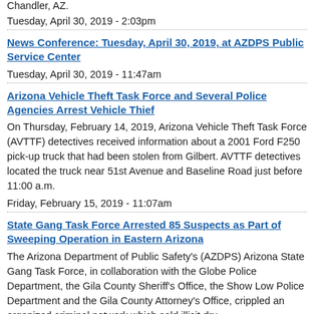Chandler, AZ.
Tuesday, April 30, 2019 - 2:03pm
News Conference: Tuesday, April 30, 2019, at AZDPS Public Service Center
Tuesday, April 30, 2019 - 11:47am
Arizona Vehicle Theft Task Force and Several Police Agencies Arrest Vehicle Thief
On Thursday, February 14, 2019, Arizona Vehicle Theft Task Force (AVTTF) detectives received information about a 2001 Ford F250 pick-up truck that had been stolen from Gilbert. AVTTF detectives located the truck near 51st Avenue and Baseline Road just before 11:00 a.m.
Friday, February 15, 2019 - 11:07am
State Gang Task Force Arrested 85 Suspects as Part of Sweeping Operation in Eastern Arizona
The Arizona Department of Public Safety's (AZDPS) Arizona State Gang Task Force, in collaboration with the Globe Police Department, the Gila County Sheriff's Office, the Show Low Police Department and the Gila County Attorney's Office, crippled an organized criminal network which sold illicit dru